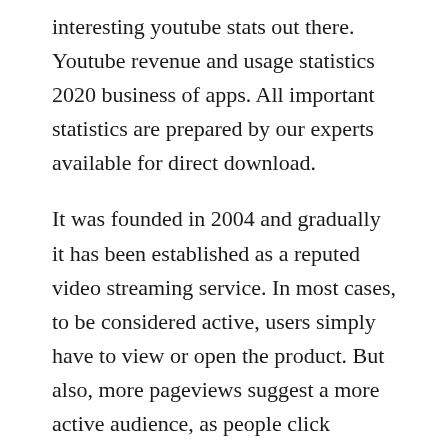interesting youtube stats out there. Youtube revenue and usage statistics 2020 business of apps. All important statistics are prepared by our experts available for direct download.
It was founded in 2004 and gradually it has been established as a reputed video streaming service. In most cases, to be considered active, users simply have to view or open the product. But also, more pageviews suggest a more active audience, as people click around to. In september 2018, two instagram founders, kevin systrom and mike krieger,